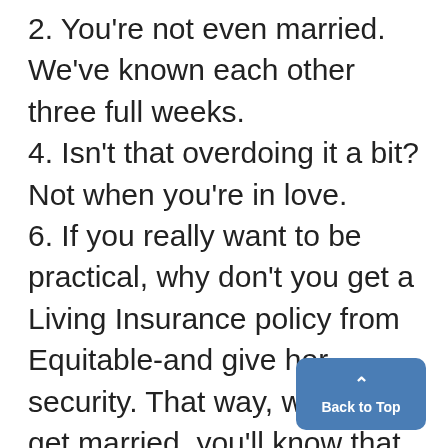2. You're not even married. We've known each other three full weeks.
4. Isn't that overdoing it a bit? Not when you're in love.
6. If you really want to be practical, why don't you get a Living Insurance policy from Equitable-and give her security. That way, when you get married, you'll know that she and the kids will always be provided for if something should happen